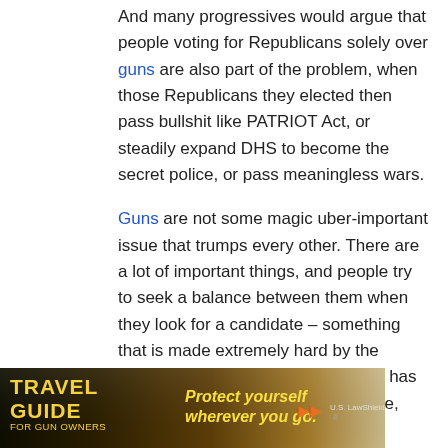And many progressives would argue that people voting for Republicans solely over guns are also part of the problem, when those Republicans they elected then pass bullshit like PATRIOT Act, or steadily expand DHS to become the secret police, or pass meaningless wars.

Guns are not some magic uber-important issue that trumps every other. There are a lot of important things, and people try to seek a balance between them when they look for a candidate – something that is made extremely hard by the ridiculous two-party system that US has which forces you to toe the party line, one of the two available.
[Figure (infographic): Travel Guide for Gun Owners advertisement banner. Dark background with orange/gold tones. Left side shows 'TRAVEL GUIDE FOR GUN OWNERS' text in bold yellow/white. Right side shows 'Protect yourself wherever you go.' in yellow italic text with orange arrow play buttons and U.S. LawShield branding.]